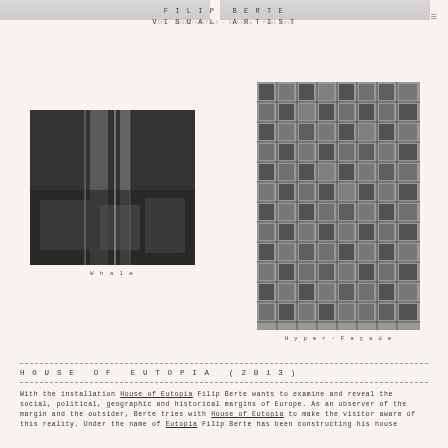FILIP BERTE VISUAL ARTIST — IDP – Bed& Breakfast – Eutopia – Fumi Dayo
[Figure (photo): Black and white photograph of an interior space with reflective glass panels, titled 'Whale']
W h a l e
[Figure (photo): Black and white photograph of a building facade with a repetitive grid of windows, titled 'Hyper-Façade']
H y p e r - F a ç a d e
H O U S E  O F  E U T O P I A  ( 2 0 1 3 )
With the installation House of Eutopia Filip Berte wants to examine and reveal the social, political, geographic and historical margins of Europe. As an observer of the margin and the outsider, Berte tries with House of Eutopia to make the visitor aware of this reality. Under the name of Eutopia Filip Berte has been constructing his house